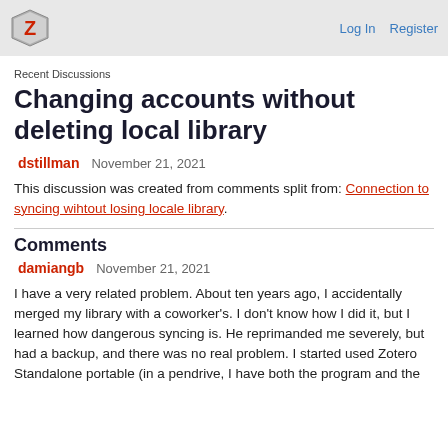Log In  Register
Recent Discussions
Changing accounts without deleting local library
dstillman  November 21, 2021
This discussion was created from comments split from: Connection to syncing wihtout losing locale library.
Comments
damiangb  November 21, 2021
I have a very related problem. About ten years ago, I accidentally merged my library with a coworker's. I don't know how I did it, but I learned how dangerous syncing is. He reprimanded me severely, but had a backup, and there was no real problem. I started used Zotero Standalone portable (in a pendrive, I have both the program and the